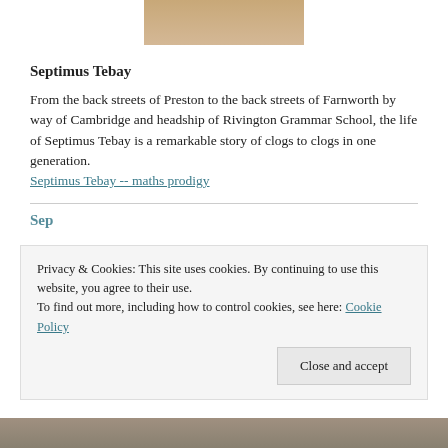[Figure (photo): Partial view of a historical portrait photograph with beige/tan tones, cropped at top of page]
Septimus Tebay
From the back streets of Preston to the back streets of Farnworth by way of Cambridge and headship of Rivington Grammar School, the life of Septimus Tebay is a remarkable story of clogs to clogs in one generation.
Septimus Tebay -- maths prodigy
Privacy & Cookies: This site uses cookies. By continuing to use this website, you agree to their use.
To find out more, including how to control cookies, see here: Cookie Policy
Close and accept
[Figure (photo): Partial view of another historical portrait photograph at the bottom of the page]